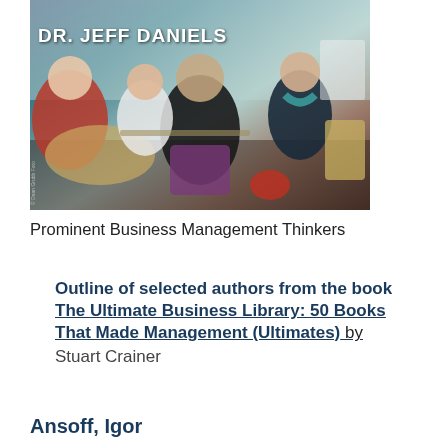[Figure (photo): A group of people sitting in a informal meeting or workshop setting, in a room with chairs and a whiteboard. Overlaid text reads DR. JEFF DANIELS in white bold letters.]
Prominent Business Management Thinkers
Outline of selected authors from the book The Ultimate Business Library: 50 Books That Made Management (Ultimates) by Stuart Crainer
Ansoff, Igor